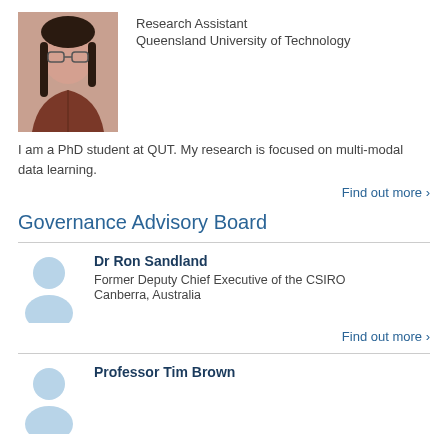[Figure (photo): Headshot photo of a young Asian woman with glasses and dark hair, wearing a dark reddish-brown zip-up jacket]
Research Assistant
Queensland University of Technology
I am a PhD student at QUT. My research is focused on multi-modal data learning.
Find out more >
Governance Advisory Board
[Figure (illustration): Generic person silhouette avatar placeholder in light blue]
Dr Ron Sandland
Former Deputy Chief Executive of the CSIRO
Canberra, Australia
Find out more >
[Figure (illustration): Generic person silhouette avatar placeholder in light blue]
Professor Tim Brown